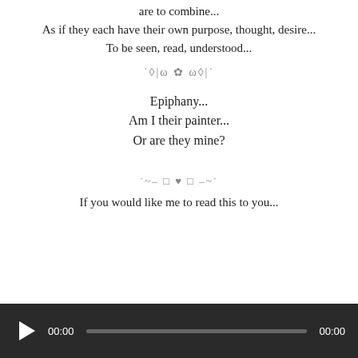are to combine...
As if they each have their own purpose, thought, desire...
To be seen, read, understood...
˙◊|ω ✿ ω◊|˙
Epiphany...
Am I their painter...
Or are they mine?
˙~– □ ♥ □ –~˙
If you would like me to read this to you...
[Figure (other): Audio player bar with play button, time display 00:00, progress bar, and end time 00:00 on dark background]